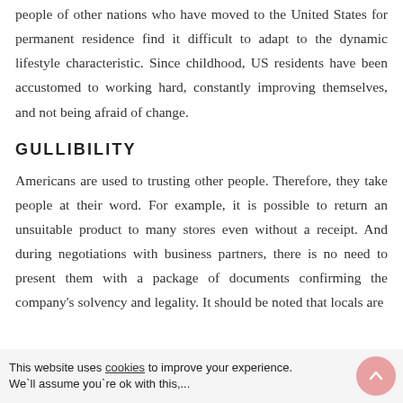people of other nations who have moved to the United States for permanent residence find it difficult to adapt to the dynamic lifestyle characteristic. Since childhood, US residents have been accustomed to working hard, constantly improving themselves, and not being afraid of change.
GULLIBILITY
Americans are used to trusting other people. Therefore, they take people at their word. For example, it is possible to return an unsuitable product to many stores even without a receipt. And during negotiations with business partners, there is no need to present them with a package of documents confirming the company's solvency and legality. It should be noted that locals are
This website uses cookies to improve your experience. We`ll assume you`re ok with this,...